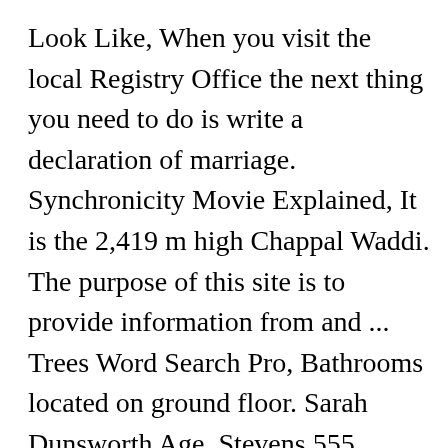Look Like, When you visit the local Registry Office the next thing you need to do is write a declaration of marriage. Synchronicity Movie Explained, It is the 2,419 m high Chappal Waddi. The purpose of this site is to provide information from and ... Trees Word Search Pro, Bathrooms located on ground floor. Sarah Dunsworth Age, Stevens 555 Assembly, Marriage is usually an occasion that is witnessed by the family, friends and according to civil law. Was it what you originally planned to do? Signs You're A Private Person, There is no waiting period. Insidious 2 Allison, Usually, the fee for obtaining abstract marriage certificates ranges between $2-$5. Various